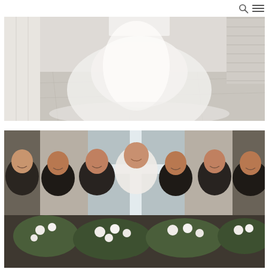Navigation bar with search and menu icons
[Figure (photo): A white wedding dress displayed in a bright room with marble tile flooring and white curtains/shutters in the background. The skirt of the gown flows on the floor.]
[Figure (photo): A group of seven women — one bride in the center wearing white and six bridesmaids wearing dark/charcoal dresses — posing together indoors with a window cross visible behind them. They hold lush floral bouquets with white flowers and greenery.]